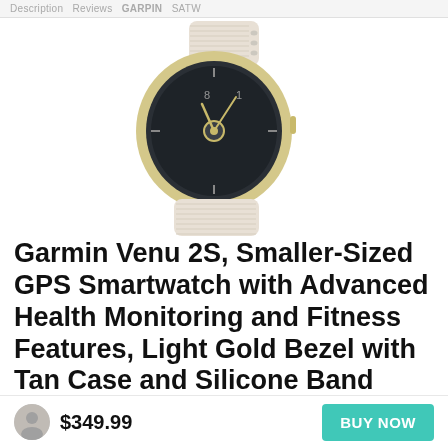Description  Reviews  GARMIN  SATE
[Figure (photo): Garmin Venu 2S smartwatch with light gold bezel, dark circular face, and white/tan silicone band, shown at an angle against a white background.]
Garmin Venu 2S, Smaller-Sized GPS Smartwatch with Advanced Health Monitoring and Fitness Features, Light Gold Bezel with Tan Case and Silicone Band
$349.99
BUY NOW